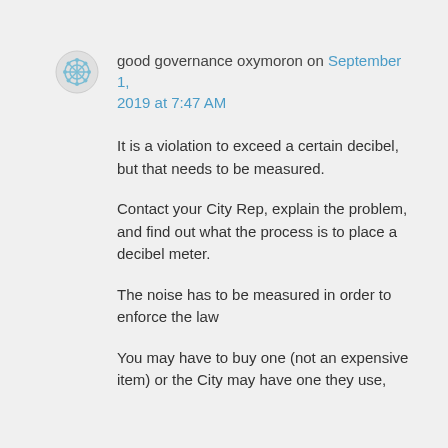good governance oxymoron on September 1, 2019 at 7:47 AM
It is a violation to exceed a certain decibel, but that needs to be measured.
Contact your City Rep, explain the problem, and find out what the process is to place a decibel meter.
The noise has to be measured in order to enforce the law
You may have to buy one (not an expensive item) or the City may have one they use,